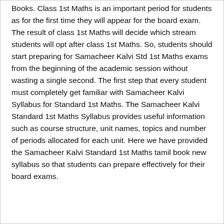Books. Class 1st Maths is an important period for students as for the first time they will appear for the board exam. The result of class 1st Maths will decide which stream students will opt after class 1st Maths. So, students should start preparing for Samacheer Kalvi Std 1st Maths exams from the beginning of the academic session without wasting a single second. The first step that every student must completely get familiar with Samacheer Kalvi Syllabus for Standard 1st Maths. The Samacheer Kalvi Standard 1st Maths Syllabus provides useful information such as course structure, unit names, topics and number of periods allocated for each unit. Here we have provided the Samacheer Kalvi Standard 1st Maths tamil book new syllabus so that students can prepare effectively for their board exams.